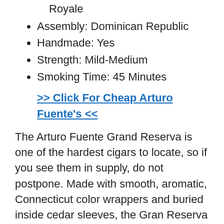Royale
Assembly: Dominican Republic
Handmade: Yes
Strength: Mild-Medium
Smoking Time: 45 Minutes
>> Click For Cheap Arturo Fuente's <<
The Arturo Fuente Grand Reserva is one of the hardest cigars to locate, so if you see them in supply, do not postpone. Made with smooth, aromatic, Connecticut color wrappers and buried inside cedar sleeves, the Gran Reserva uses a mild, remarkable smoke.
4. Rocky Patel Decade